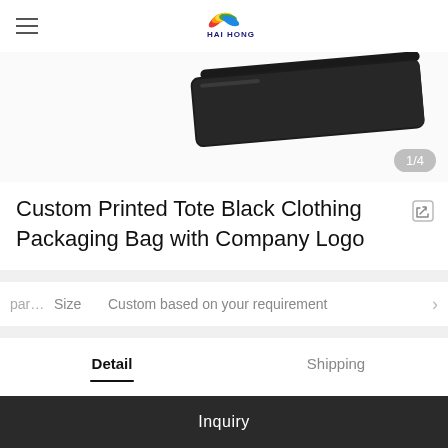HAI HONG (logo)
[Figure (photo): Black tote clothing packaging bag product photo, showing folded black bag. Image counter shows 1/4.]
Custom Printed Tote Black Clothing Packaging Bag with Company Logo
par... Size Custom based on your requirement
Detail | Shipping (tab navigation, Detail active)
Custom Biodegradable Plastic Bags Manufacturer Three Side Seal Bag for Business
Inquiry